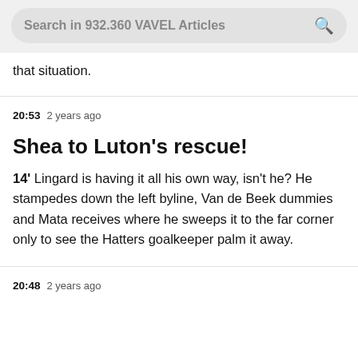Search in 932.360 VAVEL Articles
that situation.
20:53  2 years ago
Shea to Luton's rescue!
14' Lingard is having it all his own way, isn't he? He stampedes down the left byline, Van de Beek dummies and Mata receives where he sweeps it to the far corner only to see the Hatters goalkeeper palm it away.
20:48  2 years ago